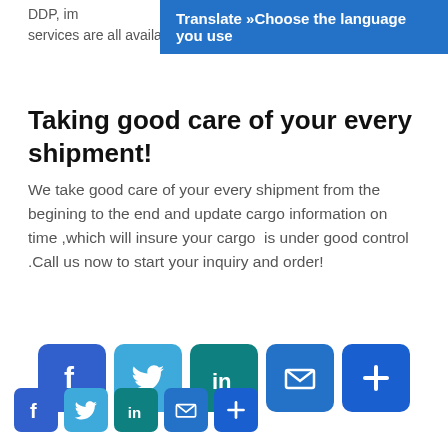Translate »Choose the language you use
DDP, im... services are all available.
Taking good care of your every shipment!
We take good care of your every shipment from the begining to the end and update cargo information on time ,which will insure your cargo  is under good control .Call us now to start your inquiry and order!
[Figure (infographic): Row of 5 large social media icon buttons: Facebook (blue), Twitter (light blue), LinkedIn (teal), Email (blue), Plus/share (blue)]
[Figure (infographic): Row of 5 small social media icon buttons: Facebook, Twitter, LinkedIn, Email, Plus/share]